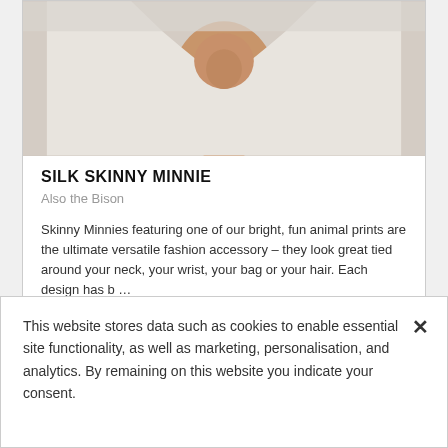[Figure (photo): Partial photo of a person wearing a white silk scarf/garment tied around the neck, light background, head partially cropped]
SILK SKINNY MINNIE
Also the Bison
Skinny Minnies featuring one of our bright, fun animal prints are the ultimate versatile fashion accessory – they look great tied around your neck, your wrist, your bag or your hair. Each design has b …
SEE MORE
This website stores data such as cookies to enable essential site functionality, as well as marketing, personalisation, and analytics. By remaining on this website you indicate your consent.